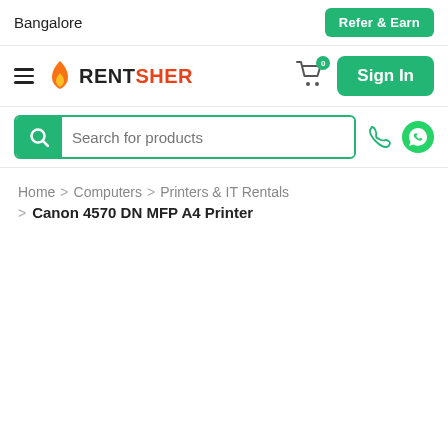Bangalore   Refer & Earn
[Figure (logo): RentSher logo with hamburger menu, cart icon with badge 0, and Sign In button]
[Figure (screenshot): Search bar with magnifying glass icon and placeholder text 'Search for products', phone and WhatsApp icons]
Home > Computers > Printers & IT Rentals
> Canon 4570 DN MFP A4 Printer